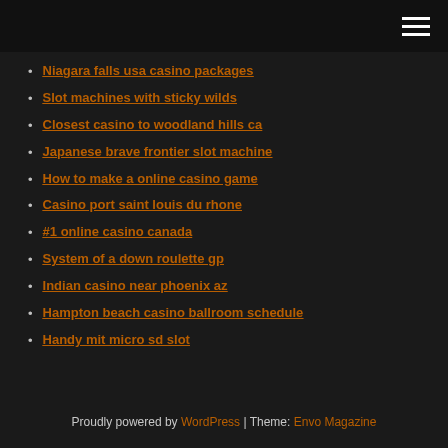Niagara falls usa casino packages
Slot machines with sticky wilds
Closest casino to woodland hills ca
Japanese brave frontier slot machine
How to make a online casino game
Casino port saint louis du rhone
#1 online casino canada
System of a down roulette gp
Indian casino near phoenix az
Hampton beach casino ballroom schedule
Handy mit micro sd slot
Proudly powered by WordPress | Theme: Envo Magazine